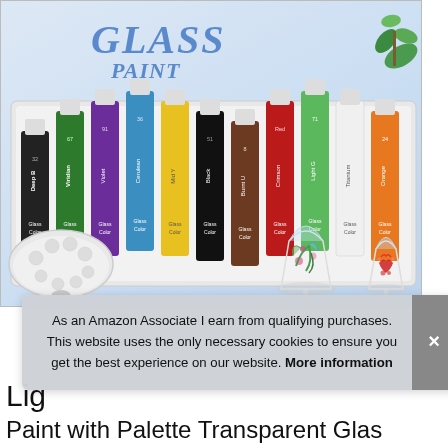[Figure (photo): Product photo of a glass paint set showing multiple colorful paint tubes in a white box, two decorative painted wine glasses, and a white palette. Text 'GLASS' and 'PAINT' visible at top.]
As an Amazon Associate I earn from qualifying purchases. This website uses the only necessary cookies to ensure you get the best experience on our website. More information
Lig
Paint with Palette Transparent Glass